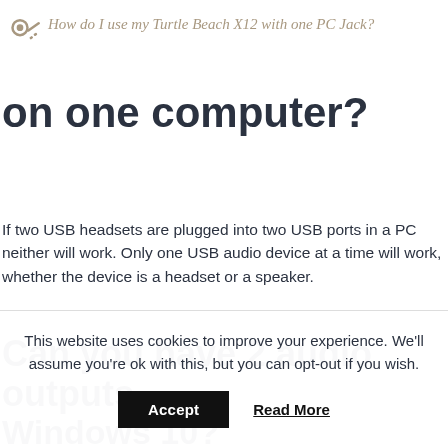How do I use my Turtle Beach X12 with one PC Jack?
on one computer?
If two USB headsets are plugged into two USB ports in a PC neither will work. Only one USB audio device at a time will work, whether the device is a headset or a speaker.
Can you have 2 audio outputs
Windows 10?
This website uses cookies to improve your experience. We'll assume you're ok with this, but you can opt-out if you wish.
Accept   Read More